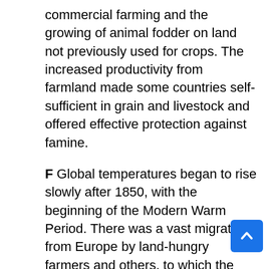commercial farming and the growing of animal fodder on land not previously used for crops. The increased productivity from farmland made some countries self-sufficient in grain and livestock and offered effective protection against famine.
F Global temperatures began to rise slowly after 1850, with the beginning of the Modern Warm Period. There was a vast migration from Europe by land-hungry farmers and others, to which the famine caused by the Irish potato blight contributed, to North America, Australia, New Zealand, and southern Africa. Millions of hectares of forest and woodland fell before the newcomers' axes between 1850 and 1890, as intensive European farming methods expanded across the world. The unprecedented land clearance released vast quantities of carbon dioxide into the atmosphere, triggering for the first time humanly caused global warming. Temperatures